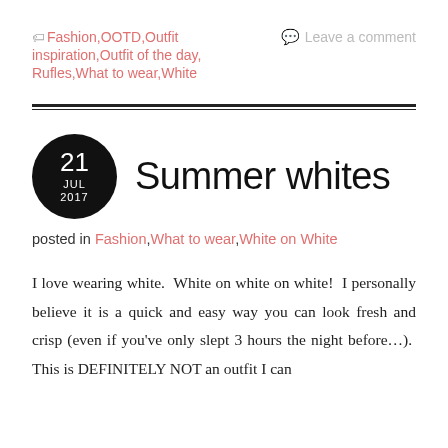🏷 Fashion,OOTD,Outfit inspiration,Outfit of the day, Rufles,What to wear,White
💬 Leave a comment
Summer whites
posted in Fashion, What to wear, White on White
I love wearing white. White on white on white! I personally believe it is a quick and easy way you can look fresh and crisp (even if you've only slept 3 hours the night before...). This is DEFINITELY NOT an outfit I can